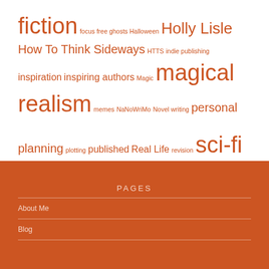[Figure (infographic): Tag cloud with writing/fiction related terms in orange, varying sizes to indicate frequency/importance. Terms include: fiction, focus, free, ghosts, Halloween, Holly Lisle, How To Think Sideways, HTTS, indie publishing, inspiration, inspiring authors, Magic, magical realism, memes, NaNoWriMo, Novel writing, personal planning, plotting, published, Real Life, revision, sci-fi, self-publishing, short stories, Watch Night, web stuff, Work in Progress, Writing, writing classes, writing help]
PAGES
About Me
Blog